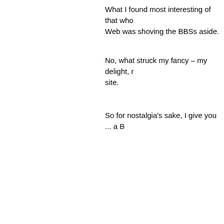What I found most interesting of that who... Web was shoving the BBSs aside.
No, what struck my fancy – my delight, r... site.
So for nostalgia's sake, I give you ... a B...
Running Wildcat! v. 6.1, Fanciful Online i...
I don't have a modem-installed in my P4... features (games, for instance) are only a... the versions available are designed for W... modern equipment is an unknown factor.
I used my cmd module (Windows Start b... ANSI compatible protocol, and the Wind...
I'd forgotten about setting up a new acco... Even giving up an e-mail addy is a bit pa...
But it hearkens back to when BBS sysop... you into their computer, and in return, the... than we've come to expect the past few ...